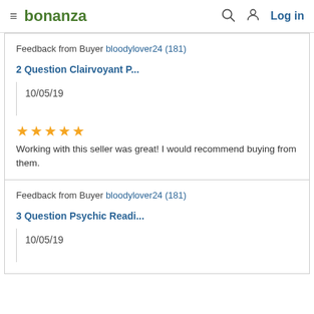bonanza  Log in
Feedback from Buyer bloodylover24 (181)
2 Question Clairvoyant P...
10/05/19
★★★★★ Working with this seller was great! I would recommend buying from them.
Feedback from Buyer bloodylover24 (181)
3 Question Psychic Readi...
10/05/19